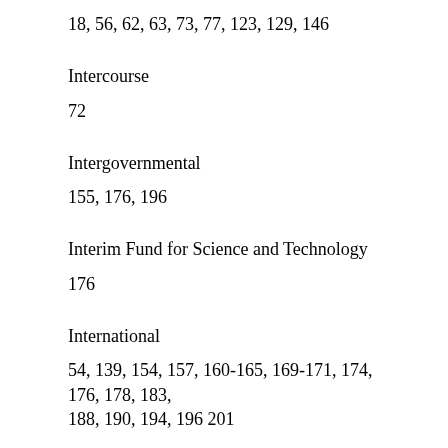18, 56, 62, 63, 73, 77, 123, 129, 146
Intercourse
72
Intergovernmental
155, 176, 196
Interim Fund for Science and Technology
176
International
54, 139, 154, 157, 160-165, 169-171, 174, 176, 178, 183, 188, 190, 194, 196 201
International agreements